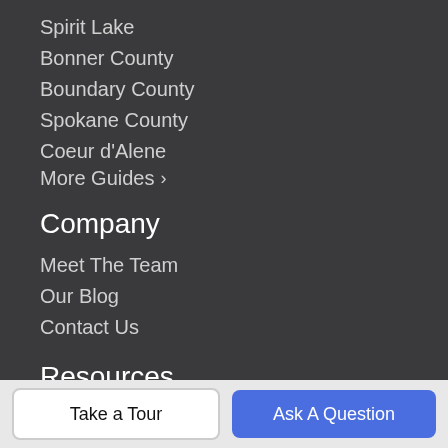Spirit Lake
Bonner County
Boundary County
Spokane County
Coeur d'Alene
More Guides ›
Company
Meet The Team
Our Blog
Contact Us
Resources
Buy a Home
Sell Your Home
Take a Tour
Ask A Question